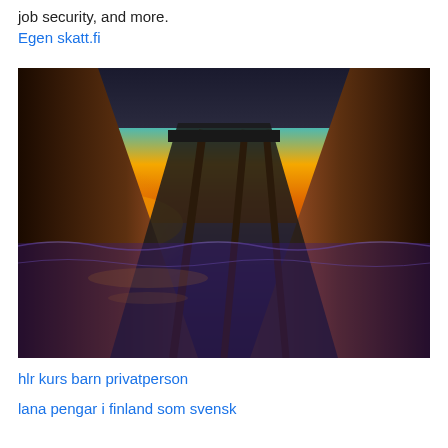job security, and more.
Egen skatt.fi
[Figure (photo): Under-pier photo at sunset/sunrise: view from beneath a wooden pier looking out to sea, with vivid orange, yellow, teal, and blue sky. Sun star visible at left horizon. Waves and wet sand reflect the colorful sky. Multiple pier support pillars frame the scene.]
hlr kurs barn privatperson
lana pengar i finland som svensk